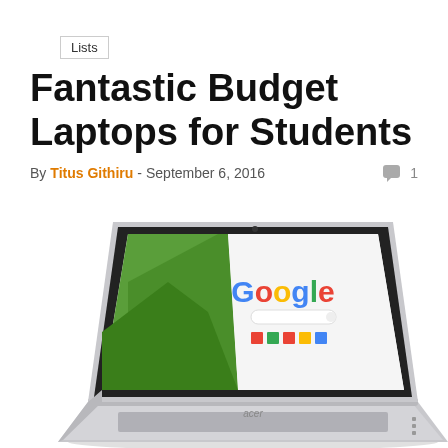Lists
Fantastic Budget Laptops for Students
By Titus Githiru - September 6, 2016  1
[Figure (photo): Acer Chromebook laptop open at an angle, showing Google homepage on screen with a green landscape wallpaper visible on the left side of the display.]